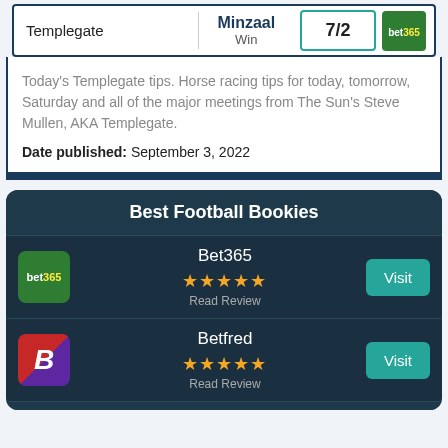| Tipster | Selection | Odds | Bookmaker |
| --- | --- | --- | --- |
| Templegate | Minzaal
Win | 7/2 | bet365 |
Today's Templegate tips. Horse racing tips for today, tomorrow, Saturday and all of the major meetings from The Sun's Steve Mullen, AKA Templegate.
Date published: September 3, 2022
Best Football Bookies
Bet365
★★★★★
Read Review
Betfred
★★★★★
Read Review